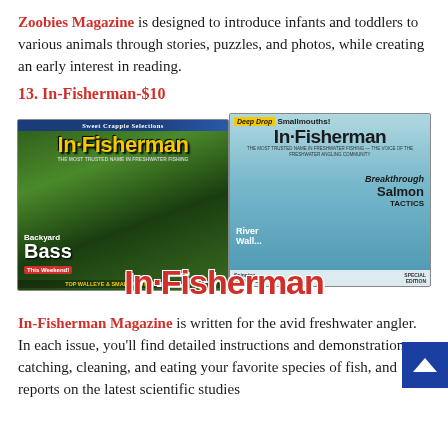Zoobies Magazine is designed to introduce infants and toddlers to various animals through stories, puzzles, and photos, while creating an early interest in reading.
13. In-Fisherman-$10
[Figure (photo): Two In-Fisherman magazine covers overlapping, with a large 'In-Fisherman' logo in red across the bottom. Left cover shows bass fishing with 'Backyard Bass This Weekend!' and 'Sweet Crappie Selections'. Right cover shows 'Deep Drop Smallmouths!' and 'Breakthrough Salmon Tactics'.]
In-Fisherman Magazine is written for the avid freshwater angler. In each issue, you'll find detailed instructions and demonstrations on catching, cleaning, and eating your favorite species of fish, and reports on the latest scientific studies